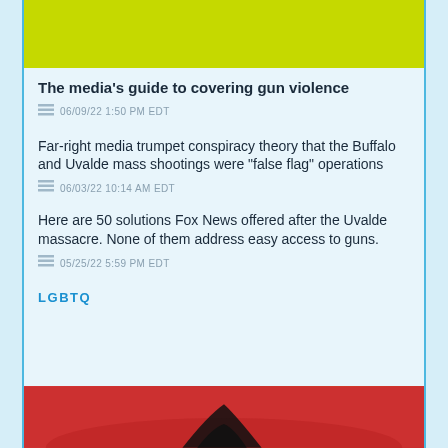[Figure (photo): Yellow-green textured background image at top of page]
The media's guide to covering gun violence
06/09/22 1:50 PM EDT
Far-right media trumpet conspiracy theory that the Buffalo and Uvalde mass shootings were “false flag” operations
06/03/22 10:14 AM EDT
Here are 50 solutions Fox News offered after the Uvalde massacre. None of them address easy access to guns.
05/25/22 5:59 PM EDT
LGBTQ
[Figure (photo): Red and orange background image at bottom of page with dark silhouette]